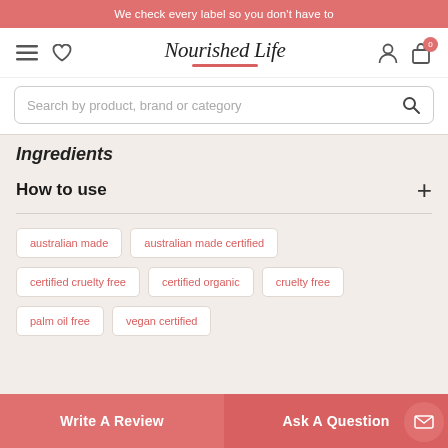We check every label so you don't have to
[Figure (screenshot): Nourished Life website navigation bar with hamburger menu, heart icon, logo, user icon, and cart icon with badge showing 0]
[Figure (screenshot): Search bar with placeholder text: Search by product, brand or category]
Ingredients
How to use
australian made
australian made certified
certified cruelty free
certified organic
cruelty free
palm oil free
vegan certified
Write A Review
Ask A Question